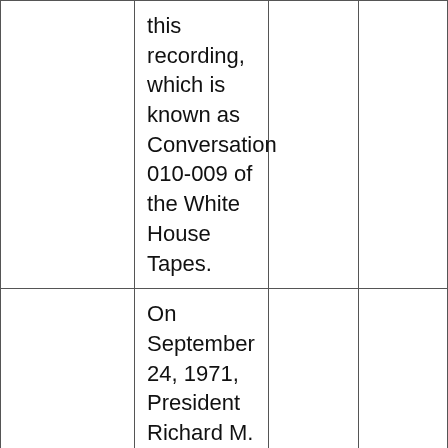|  | this recording, which is known as Conversation 010-009 of the White House Tapes. |  |  |
|  | On September 24, 1971, President Richard M. Nixon and the White |  |  |